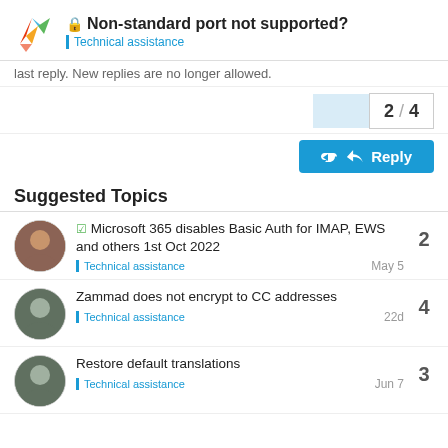Non-standard port not supported? — Technical assistance
last reply. New replies are no longer allowed.
2 / 4
Reply
Suggested Topics
Microsoft 365 disables Basic Auth for IMAP, EWS and others 1st Oct 2022 — Technical assistance — May 5 — 2 replies
Zammad does not encrypt to CC addresses — Technical assistance — 22d — 4 replies
Restore default translations — Technical assistance — Jun 7 — 3 replies